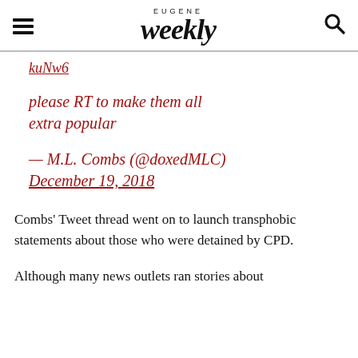EUGENE Weekly
kuNw6
please RT to make them all extra popular
— M.L. Combs (@doxedMLC) December 19, 2018
Combs' Tweet thread went on to launch transphobic statements about those who were detained by CPD.
Although many news outlets ran stories about